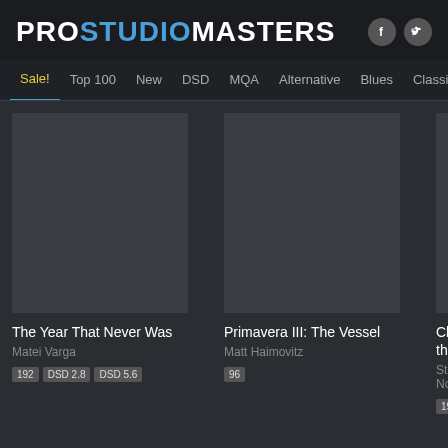[Figure (logo): ProStudioMasters logo with PRO in white, STUDIO in blue, MASTERS in white, followed by Facebook and Twitter social icons]
Sale! | Top 100 | New | DSD | MQA | Alternative | Blues | Classical | Country | Electro
[Figure (other): Album art placeholder (dark grey rectangle) for The Year That Never Was]
The Year That Never Was
Matei Varga
192  DSD 2.8  DSD 5.6
[Figure (other): Album art placeholder (dark grey rectangle) for Primavera III: The Vessel]
Primavera III: The Vessel
Matt Haimovitz
96
[Figure (other): Album art placeholder (dark grey rectangle) for Church... the St... (partial)]
Churc... the St...
St Geo... Norma...
192